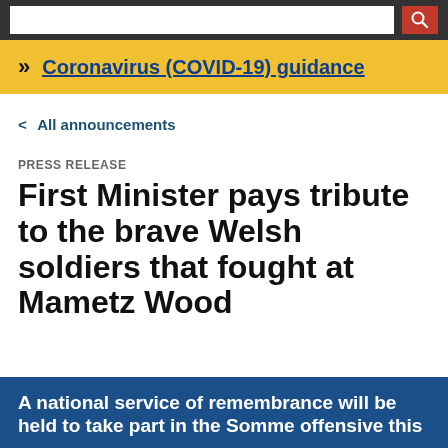[Search bar and navigation]
>> Coronavirus (COVID-19) guidance
< All announcements
PRESS RELEASE
First Minister pays tribute to the brave Welsh soldiers that fought at Mametz Wood
A national service of remembrance will be held to take part in the Somme offensive this...